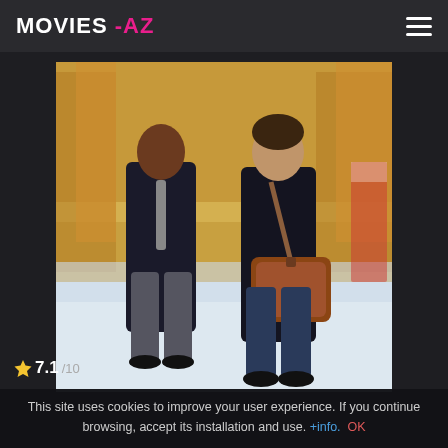MOVIES -AZ
[Figure (photo): Movie poster showing two men walking on a city street with autumn trees in background. One man in a suit with a tie, another in a dark coat with a brown leather satchel bag.]
This site uses cookies to improve your user experience. If you continue browsing, accept its installation and use. +info.  OK